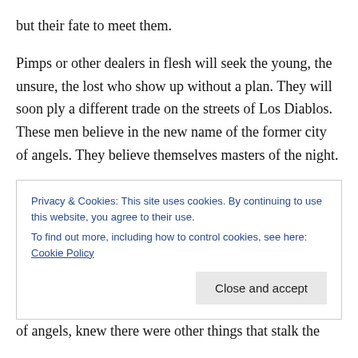but their fate to meet them.
Pimps or other dealers in flesh will seek the young, the unsure, the lost who show up without a plan. They will soon ply a different trade on the streets of Los Diablos. These men believe in the new name of the former city of angels. They believe themselves masters of the night.
Most nights. Tonight these urban predators ply their trade gingerly. Dressed in their finery, colorful, extravagent, often stunning, they look uncomfortably unsure of themselves.
Privacy & Cookies: This site uses cookies. By continuing to use this website, you agree to their use.
To find out more, including how to control cookies, see here: Cookie Policy
of angels, knew there were other things that stalk the